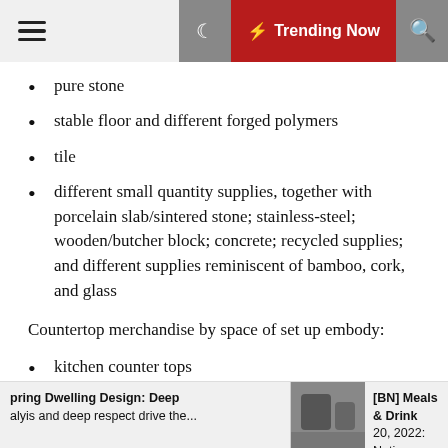Trending Now
pure stone
stable floor and different forged polymers
tile
different small quantity supplies, together with porcelain slab/sintered stone; stainless-steel; wooden/butcher block; concrete; recycled supplies; and different supplies reminiscent of bamboo, cork, and glass
Countertop merchandise by space of set up embody:
kitchen counter tops
toilet counter tops
different counter tops, reminiscent of these used to
pring Dwelling Design: Deep
alyis and deep respect drive the...
[BN] Meals & Drink
20, 2022: Native su